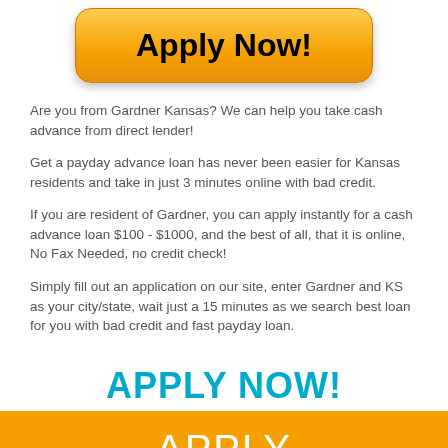[Figure (other): Orange gradient Apply Now button]
Are you from Gardner Kansas? We can help you take cash advance from direct lender!
Get a payday advance loan has never been easier for Kansas residents and take in just 3 minutes online with bad credit.
If you are resident of Gardner, you can apply instantly for a cash advance loan $100 - $1000, and the best of all, that it is online, No Fax Needed, no credit check!
Simply fill out an application on our site, enter Gardner and KS as your city/state, wait just a 15 minutes as we search best loan for you with bad credit and fast payday loan.
APPLY NOW!
APPLY
Google